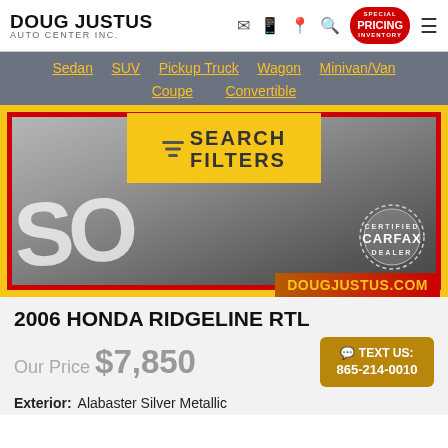DOUG JUSTUS AUTO CENTER INC.
Sedan  SUV  Pickup Truck  Wagon  Minivan/Van  Coupe  Convertible
[Figure (screenshot): Vehicle listing photo of 2006 Honda Ridgeline RTL with SOLD overlay, red and yellow border frame, Carfax Certified Dealer badge, search filters overlay button, and dougjustus.com website label]
2006 HONDA RIDGELINE RTL
Our Price $7,850
TEXT US: 865-214-0010
Exterior: Alabaster Silver Metallic